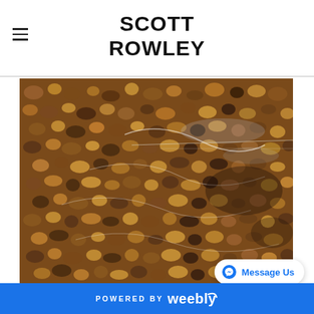SCOTT ROWLEY
[Figure (photo): Close-up photograph of rocks and pebbles visible through shallow flowing water, showing ripple patterns and reflections on the water surface. The stones are various shades of brown, amber, and dark gray.]
Like ripples in the water we all have ups and downs.
POWERED BY weebly